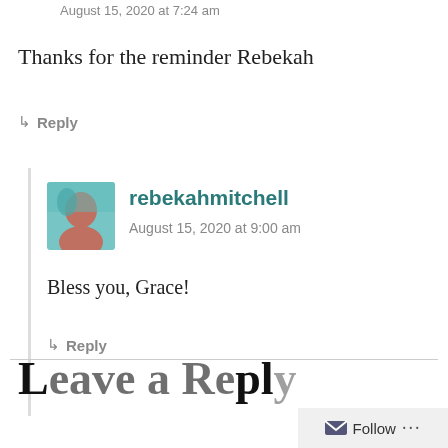August 15, 2020 at 7:24 am
Thanks for the reminder Rebekah
↳ Reply
rebekahmitchell
August 15, 2020 at 9:00 am
Bless you, Grace!
↳ Reply
Leave a Reply